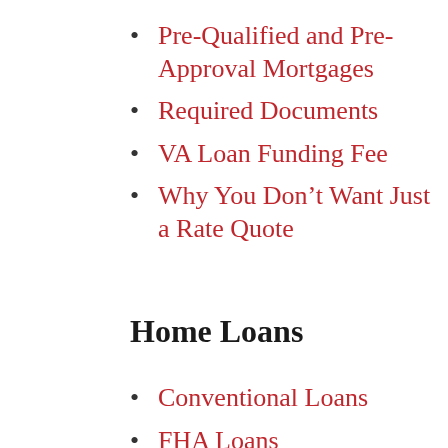Pre-Qualified and Pre-Approval Mortgages
Required Documents
VA Loan Funding Fee
Why You Don't Want Just a Rate Quote
Home Loans
Conventional Loans
FHA Loans
Super Conforming Mortgages
VA Loans
Jumbo Loans